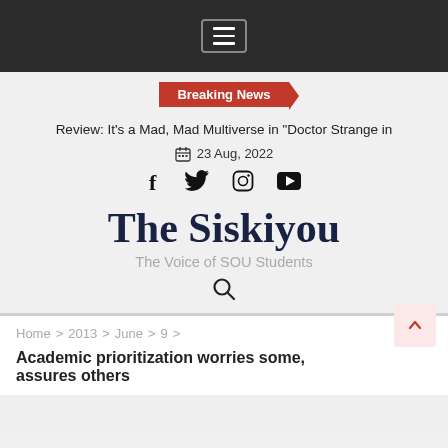Navigation menu (hamburger icon)
Breaking News
Review: It's a Mad, Mad Multiverse in "Doctor Strange in
23 Aug, 2022
[Figure (other): Social media icons: Facebook, Twitter, Instagram, YouTube]
The Siskiyou
The Voice of SOU Students
[Figure (other): Search icon (magnifying glass)]
Home > 2013 > June > 9 >
Academic prioritization worries some, assures others